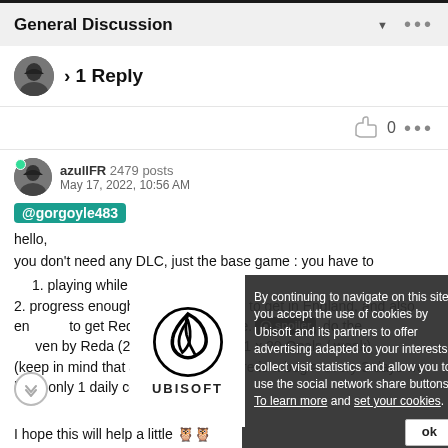General Discussion
> 1 Reply
0
azullFR 2479 posts
May 17, 2022, 10:56 AM
@gorgoyle483
hello,
you don't need any DLC, just the base game : you have to
1. playing while being online
2. progress enought in the main story to get in England, and also enough to get Reda at Ravensthorpe. [spoiler] do the Opal Quests given by Reda (2 x 5 Opals / day + 1 x 20 Opals / week) (keep in mind that at the moment there is a bug = every 3 days we have only 1 daily contract) [spoiler]
I hope this will help a little
By continuing to navigate on this site, you accept the use of cookies by Ubisoft and its partners to offer advertising adapted to your interests, collect visit statistics and allow you to use the social network share buttons. To learn more and set your cookies.
ok